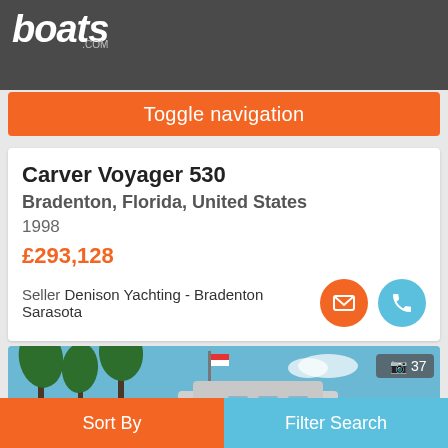boats.com
Toggle navigation
Carver Voyager 530
Bradenton, Florida, United States
1998
£293,128
Seller Denison Yachting - Bradenton Sarasota
[Figure (photo): Carver Voyager 530 yacht docked with palm trees in background, blue sky, photo count badge showing 37]
Sort By | Filter Search